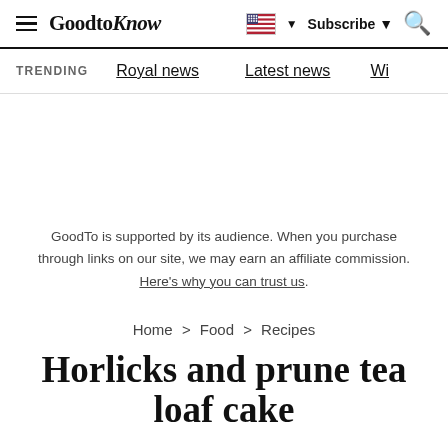GoodtoKnow — Subscribe — Search
TRENDING   Royal news   Latest news   Wi...
GoodTo is supported by its audience. When you purchase through links on our site, we may earn an affiliate commission. Here's why you can trust us.
Home > Food > Recipes
Horlicks and prune tea loaf cake